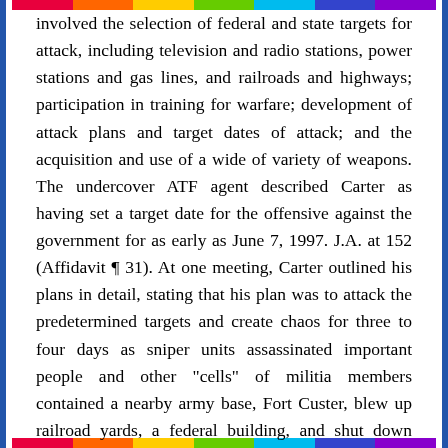involved the selection of federal and state targets for attack, including television and radio stations, power stations and gas lines, and railroads and highways; participation in training for warfare; development of attack plans and target dates of attack; and the acquisition and use of a wide of variety of weapons. The undercover ATF agent described Carter as having set a target date for the offensive against the government for as early as June 7, 1997. J.A. at 152 (Affidavit ¶ 31). At one meeting, Carter outlined his plans in detail, stating that his plan was to attack the predetermined targets and create chaos for three to four days as sniper units assassinated important people and other "cells" of militia members contained a nearby army base, Fort Custer, blew up railroad yards, a federal building, and shut down radio stations. J.A. at 152 (Affidavit ¶ 32). Graham was present at several of the meetings attended by the ATF agent. J.A. at 150 (Affidavit ¶¶ 28, 36).